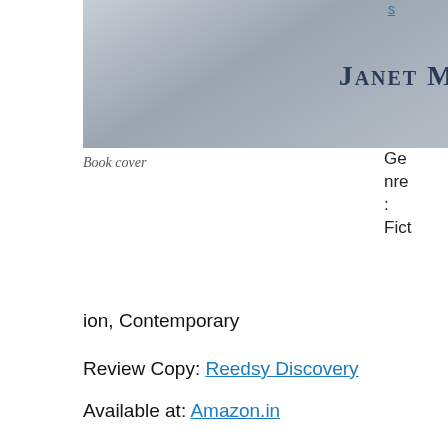[Figure (photo): Book cover image showing 'Janet Morris Grimes' in stylized small-caps text on a grey/blue gradient background]
Book cover
Genre: Fiction, Contemporary
Review Copy: Reedsy Discovery
Available at: Amazon.in
Recommended: Loved It
The simplest stories are the most endearing. Janet Morris Grimes is evidently a keen observer of various facets of human life. She picks up delicate stories and weaves them into